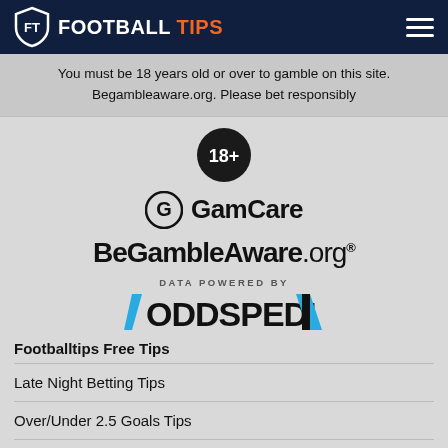FOOTBALL TIPS
You must be 18 years old or over to gamble on this site. Begambleaware.org. Please bet responsibly
[Figure (logo): 18+ age restriction badge - dark circle with 18+ text]
[Figure (logo): GamCare logo - G icon with GamCare text]
[Figure (logo): BeGambleAware.org logo]
[Figure (logo): DATA POWERED BY ODDSPEDIA logo]
Footballtips Free Tips
Late Night Betting Tips
Over/Under 2.5 Goals Tips
Both Teams to Score Tips